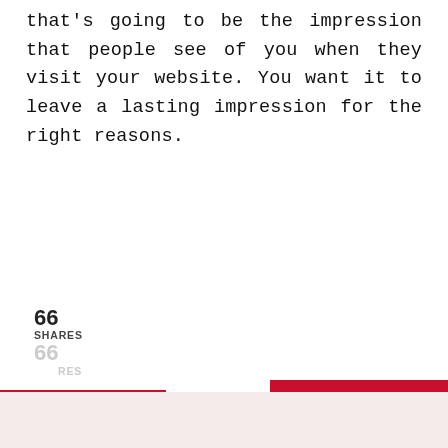that's going to be the impression that people see of you when they visit your website. You want it to leave a lasting impression for the right reasons.
66 SHARES
[Figure (screenshot): Social share buttons: Pinterest button with count 66 and Facebook button, shown in two sizes/layouts overlapping due to scroll artifact]